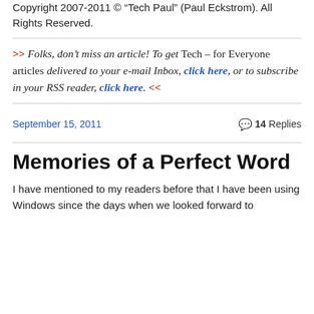Copyright 2007-2011 © “Tech Paul” (Paul Eckstrom). All Rights Reserved.
>> Folks, don’t miss an article! To get Tech – for Everyone articles delivered to your e-mail Inbox, click here, or to subscribe in your RSS reader, click here. <<
September 15, 2011   14 Replies
Memories of a Perfect Word
I have mentioned to my readers before that I have been using Windows since the days when we looked forward to